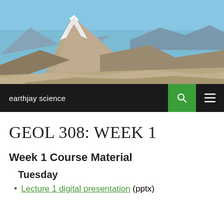[Figure (photo): Aerial photo of a snow-capped volcano (likely Mt. St. Helens) with barren landscape in the foreground and blue sky above]
earthjay science
GEOL 308: WEEK 1
Week 1 Course Material
Tuesday
Lecture 1 digital presentation (pptx)